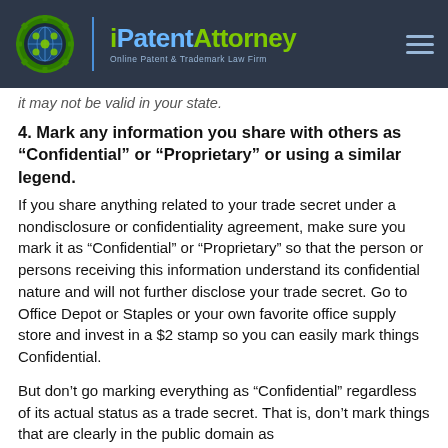[Figure (logo): iPatentAttorney logo with gear/film reel icon, blue vertical divider, green and blue brand name text, and tagline 'Online Patent & Trademark Law Firm'. Dark background header bar with hamburger menu icon on right.]
it may not be valid in your state.
4. Mark any information you share with others as “Confidential” or “Proprietary” or using a similar legend.
If you share anything related to your trade secret under a nondisclosure or confidentiality agreement, make sure you mark it as “Confidential” or “Proprietary” so that the person or persons receiving this information understand its confidential nature and will not further disclose your trade secret. Go to Office Depot or Staples or your own favorite office supply store and invest in a $2 stamp so you can easily mark things Confidential.
But don’t go marking everything as “Confidential” regardless of its actual status as a trade secret. That is, don’t mark things that are clearly in the public domain as